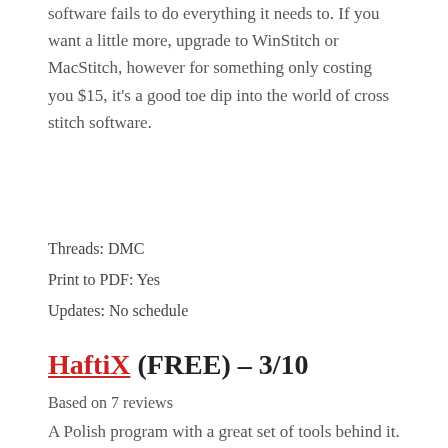software fails to do everything it needs to. If you want a little more, upgrade to WinStitch or MacStitch, however for something only costing you $15, it's a good toe dip into the world of cross stitch software.
Threads: DMC
Print to PDF: Yes
Updates: No schedule
HaftiX (FREE) – 3/10
Based on 7 reviews
A Polish program with a great set of tools behind it. Our biggest gripe however is that its not been updated in a long time, and the Polish only speaking designer will get